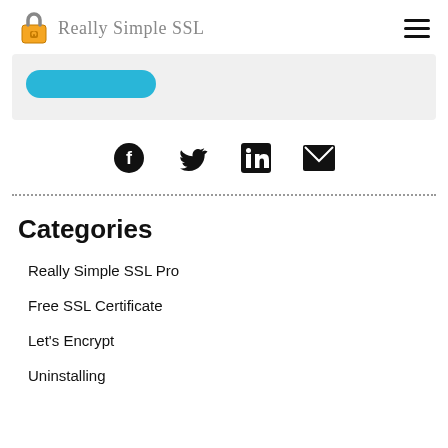Really Simple SSL
[Figure (screenshot): Partial view of a blue rounded button on a light grey background card]
[Figure (infographic): Four social share icons: Facebook circle, Twitter bird, LinkedIn square, Email envelope]
Categories
Really Simple SSL Pro
Free SSL Certificate
Let's Encrypt
Uninstalling